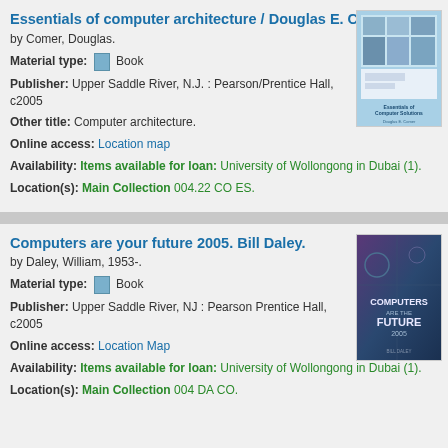Essentials of computer architecture / Douglas E. Comer.
by Comer, Douglas.
Material type: Book
Publisher: Upper Saddle River, N.J. : Pearson/Prentice Hall, c2005
Other title: Computer architecture.
Online access: Location map
Availability: Items available for loan: University of Wollongong in Dubai (1).
Location(s): Main Collection 004.22 CO ES.
[Figure (photo): Book cover for Essentials of Computer Architecture by Douglas E. Comer, light blue cover with photos of computers]
Computers are your future 2005. Bill Daley.
by Daley, William, 1953-.
Material type: Book
Publisher: Upper Saddle River, NJ : Pearson Prentice Hall, c2005
Online access: Location Map
Availability: Items available for loan: University of Wollongong in Dubai (1).
Location(s): Main Collection 004 DA CO.
[Figure (photo): Book cover for Computers are your Future 2005 by Bill Daley, dark blue/purple cover]